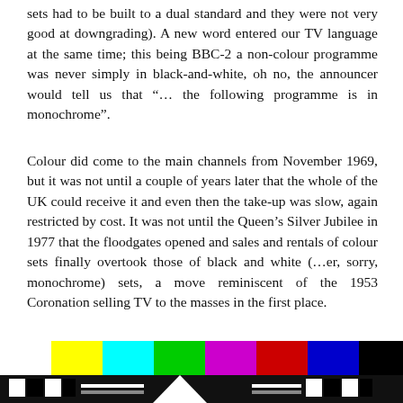sets had to be built to a dual standard and they were not very good at downgrading). A new word entered our TV language at the same time; this being BBC-2 a non-colour programme was never simply in black-and-white, oh no, the announcer would tell us that "... the following programme is in monochrome".
Colour did come to the main channels from November 1969, but it was not until a couple of years later that the whole of the UK could receive it and even then the take-up was slow, again restricted by cost. It was not until the Queen's Silver Jubilee in 1977 that the floodgates opened and sales and rentals of colour sets finally overtook those of black and white (...er, sorry, monochrome) sets, a move reminiscent of the 1953 Coronation selling TV to the masses in the first place.
[Figure (photo): Bottom portion of a TV test card or colour bar pattern showing vivid horizontal colour bars (white, yellow, cyan, green, magenta, red, blue, black) with black and white geometric shapes below.]